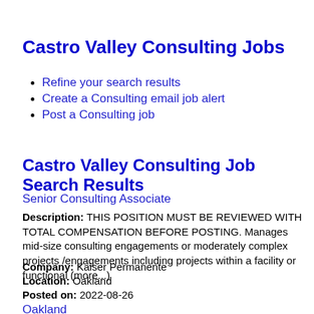Castro Valley Consulting Jobs
Refine your search results
Create a Consulting email job alert
Post a Consulting job
Castro Valley Consulting Job Search Results
Senior Consulting Associate
Description: THIS POSITION MUST BE REVIEWED WITH TOTAL COMPENSATION BEFORE POSTING. Manages mid-size consulting engagements or moderately complex projects /engagements including projects within a facility or functional (more...)
Company: Kaiser Permanente
Location: Oakland
Posted on: 2022-08-26
Oakland